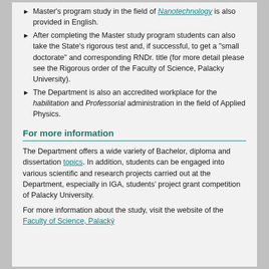Master's program study in the field of Nanotechnology is also provided in English.
After completing the Master study program students can also take the State's rigorous test and, if successful, to get a "small doctorate" and corresponding RNDr. title (for more detail please see the Rigorous order of the Faculty of Science, Palacky University).
The Department is also an accredited workplace for the habilitation and Professorial administration in the field of Applied Physics.
For more information
The Department offers a wide variety of Bachelor, diploma and dissertation topics. In addition, students can be engaged into various scientific and research projects carried out at the Department, especially in IGA, students’ project grant competition of Palacky University.
For more information about the study, visit the website of the Faculty of Science, Palacký...